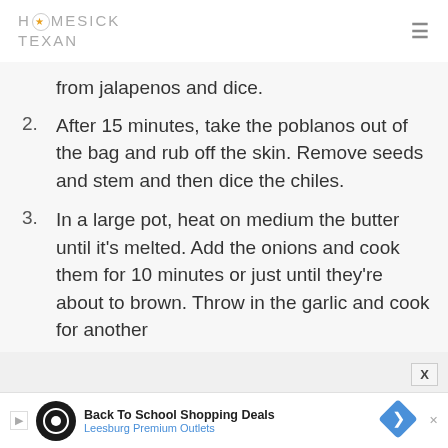HOMESICK TEXAN
from jalapenos and dice.
2.  After 15 minutes, take the poblanos out of the bag and rub off the skin. Remove seeds and stem and then dice the chiles.
3.  In a large pot, heat on medium the butter until it’s melted. Add the onions and cook them for 10 minutes or just until they’re about to brown. Throw in the garlic and cook for another
Back To School Shopping Deals Leesburg Premium Outlets